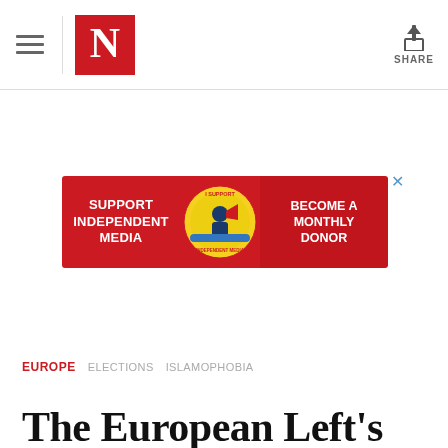The Nation - Navigation bar with hamburger menu, N logo, and Share button
[Figure (infographic): Advertisement banner: red background with text 'SUPPORT INDEPENDENT MEDIA' on left, circular logo in center with figure holding megaphone and text 'I SUPPORT INDEPENDENT MEDIA', red button on right saying 'BECOME A MONTHLY DONOR']
EUROPE  ELECTIONS  ISLAMOPHOBIA
The European Left's